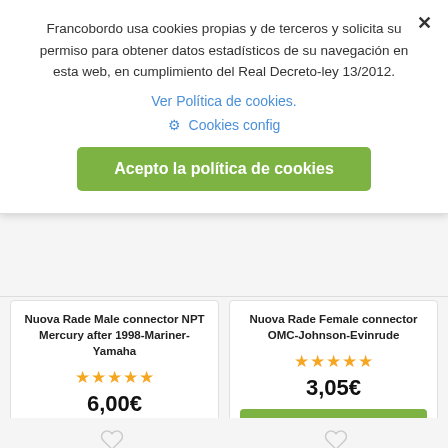Francobordo usa cookies propias y de terceros y solicita su permiso para obtener datos estadísticos de su navegación en esta web, en cumplimiento del Real Decreto-ley 13/2012.
Ver Política de cookies.
⚙ Cookies config
Acepto la política de cookies
Nuova Rade Male connector NPT Mercury after 1998-Mariner-Yamaha
★★★★★
6,00€
buy
Delivery in 24 hours
TAX incl.
Nuova Rade Female connector OMC-Johnson-Evinrude
★★★★★
3,05€
buy
Delivery in 24 hours
TAX incl.